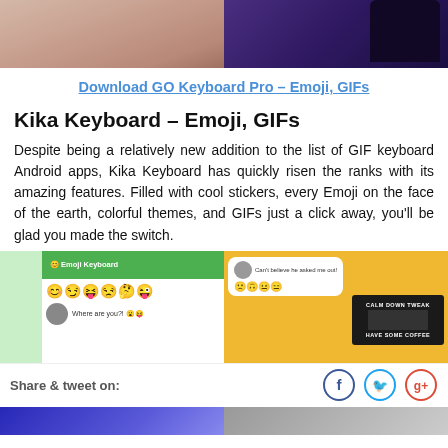[Figure (photo): Two-panel top image: left shows a hand holding a smartphone (skin tones, close-up), right shows a dark purple/indigo background with a device corner visible]
Download GO Keyboard Pro – Emoji, GIFs
Kika Keyboard – Emoji, GIFs
Despite being a relatively new addition to the list of GIF keyboard Android apps, Kika Keyboard has quickly risen the ranks with its amazing features. Filled with cool stickers, every Emoji on the face of the earth, colorful themes, and GIFs just a click away, you'll be glad you made the switch.
[Figure (screenshot): Two screenshot panels of Kika Keyboard app: left shows a green-themed emoji keyboard chat interface with emoji row and 'Where are you?!' message; right shows a yellow-background messaging screen with 'Can't believe he asked me out!' message, emoji reactions, and a 'CALM DOWN TWEAK HAVE SOME COFFEE' meme image]
Share & tweet on:
[Figure (other): Social sharing icons: Facebook (f), Twitter (bird), Google+ (g+) — circular outlined icons]
[Figure (photo): Bottom strip showing partial keyboard/app screenshots, two panels]